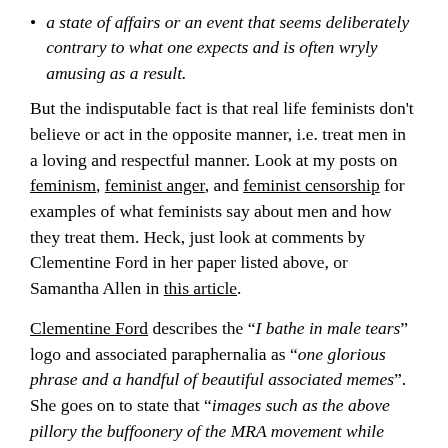a state of affairs or an event that seems deliberately contrary to what one expects and is often wryly amusing as a result.
But the indisputable fact is that real life feminists don't believe or act in the opposite manner, i.e. treat men in a loving and respectful manner. Look at my posts on feminism, feminist anger, and feminist censorship for examples of what feminists say about men and how they treat them. Heck, just look at comments by Clementine Ford in her paper listed above, or Samantha Allen in this article.
Clementine Ford describes the “I bathe in male tears” logo and associated paraphernalia as “one glorious phrase and a handful of beautiful associated memes”. She goes on to state that “images such as the above pillory the buffoonery of the MRA movement while giving increasingly stressed out and